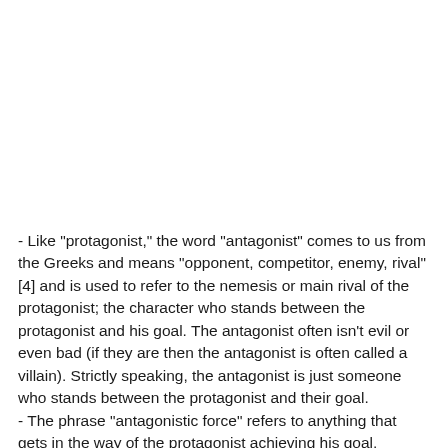- Like "protagonist," the word "antagonist" comes to us from the Greeks and means "opponent, competitor, enemy, rival" [4] and is used to refer to the nemesis or main rival of the protagonist; the character who stands between the protagonist and his goal. The antagonist often isn't evil or even bad (if they are then the antagonist is often called a villain). Strictly speaking, the antagonist is just someone who stands between the protagonist and their goal.
- The phrase "antagonistic force" refers to anything that gets in the way of the protagonist achieving his goal, whether human or not. Tornadoes, diseases, and so on, are examples of natural phenomena that have been used as